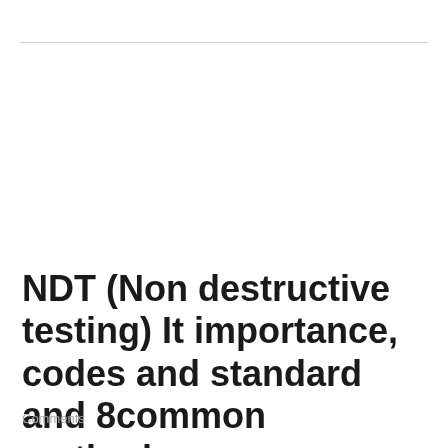NDT (Non destructive testing) It importance, codes and standard and 8common methods.
Comments